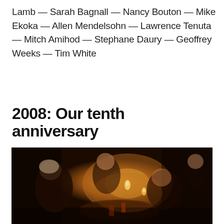Lamb — Sarah Bagnall — Nancy Bouton — Mike Ekoka — Allen Mendelsohn — Lawrence Tenuta — Mitch Amihod — Stephane Daury — Geoffrey Weeks — Tim White
2008: Our tenth anniversary
[Figure (photo): A dimly lit gathering of people seated around a table with candles and drinks, in a warm amber-toned low-light setting. People are talking and laughing.]